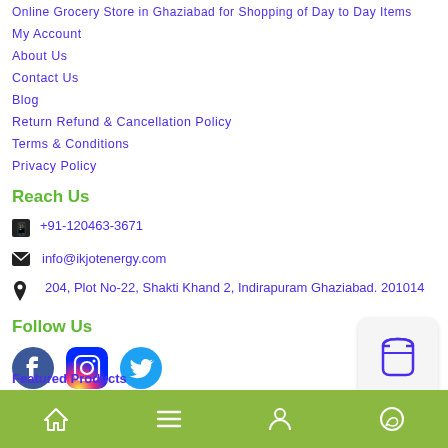Online Grocery Store in Ghaziabad for Shopping of Day to Day Items
My Account
About Us
Contact Us
Blog
Return Refund & Cancellation Policy
Terms & Conditions
Privacy Policy
Reach Us
+91-120463-3671
info@ikjotenergy.com
204, Plot No-22, Shakti Khand 2, Indirapuram Ghaziabad. 201014
Follow Us
[Figure (illustration): Facebook, Instagram, Twitter social media icons]
[Figure (illustration): Shopping bag cart widget icon]
Featured Products
Home | Menu | Profile | WhatsApp navigation bar